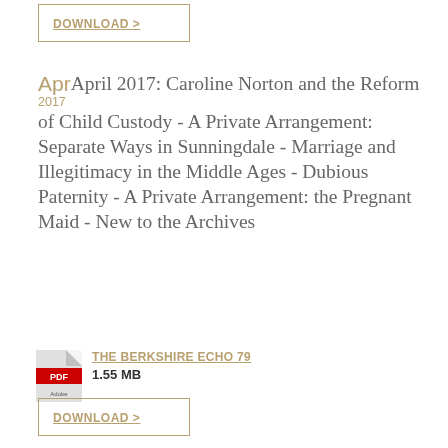DOWNLOAD >
Apr 2017 April 2017: Caroline Norton and the Reform of Child Custody - A Private Arrangement: Separate Ways in Sunningdale - Marriage and Illegitimacy in the Middle Ages - Dubious Paternity - A Private Arrangement: the Pregnant Maid - New to the Archives
[Figure (other): PDF icon (Adobe PDF red icon)]
THE BERKSHIRE ECHO 79
1.55 MB
DOWNLOAD >
Jan 2017 January 2017: Clewer House of Mercy: an Overview - Entering the House of Mercy: a Penitent testifies -